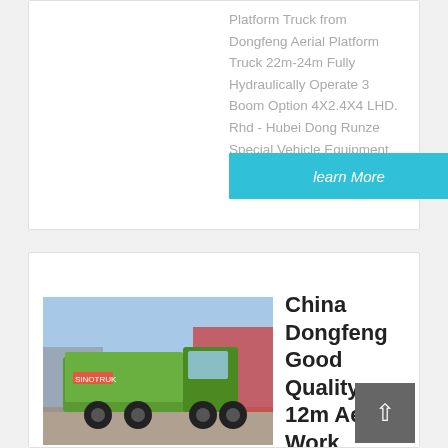Platform Truck from Dongfeng Aerial Platform Truck 22m-24m Fully Hydraulically Operate 3 Boom Option 4X2.4X4 LHD. Rhd - Hubei Dong Runze Special Vehicle Equipment Co., Ltd.
learn More
[Figure (photo): Green dump truck (Dongfeng) parked in an outdoor lot with buildings in the background]
China Dongfeng Good Quality 12m Aerial Work Platform ...
China Dongfeng Good Quality 12m Aerial Work Platform High Lifti...